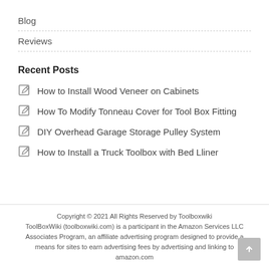Blog
Reviews
Recent Posts
How to Install Wood Veneer on Cabinets
How To Modify Tonneau Cover for Tool Box Fitting
DIY Overhead Garage Storage Pulley System
How to Install a Truck Toolbox with Bed Lliner
Copyright © 2021 All Rights Reserved by Toolboxwiki
ToolBoxWiki (toolboxwiki.com) is a participant in the Amazon Services LLC Associates Program, an affiliate advertising program designed to provide a means for sites to earn advertising fees by advertising and linking to amazon.com